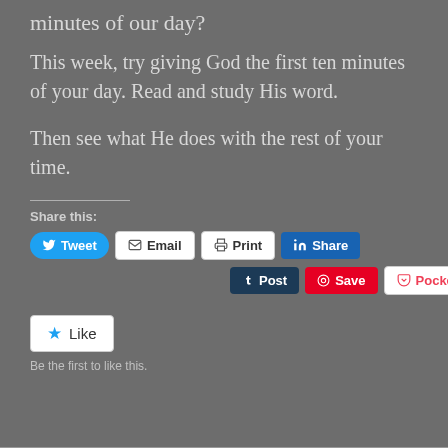minutes of our day?
This week, try giving God the first ten minutes of your day. Read and study His word.
Then see what He does with the rest of your time.
Share this:
[Figure (screenshot): Social sharing buttons: Tweet, Email, Print, Share (LinkedIn), Post (Tumblr), Save (Pinterest), Pocket with count 0]
[Figure (screenshot): Like button with star icon. Caption: Be the first to like this.]